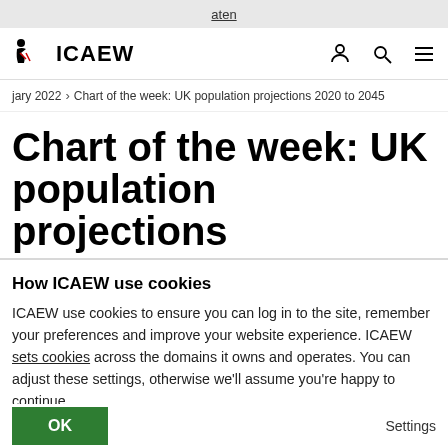ICAEW
jary 2022 > Chart of the week: UK population projections 2020 to 2045
Chart of the week: UK population projections 2020 to 2045
How ICAEW use cookies
ICAEW use cookies to ensure you can log in to the site, remember your preferences and improve your website experience. ICAEW sets cookies across the domains it owns and operates. You can adjust these settings, otherwise we'll assume you're happy to continue.
OK
Settings